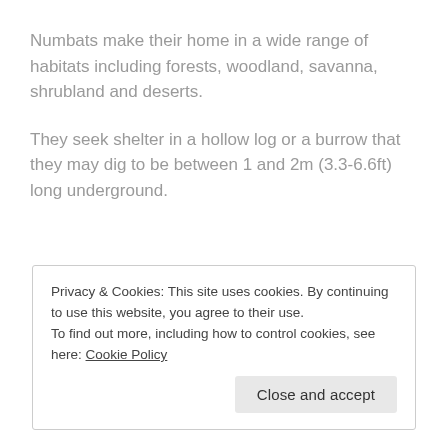Numbats make their home in a wide range of habitats including forests, woodland, savanna, shrubland and deserts.
They seek shelter in a hollow log or a burrow that they may dig to be between 1 and 2m (3.3-6.6ft) long underground.
Privacy & Cookies: This site uses cookies. By continuing to use this website, you agree to their use.
To find out more, including how to control cookies, see here: Cookie Policy
[Close and accept]